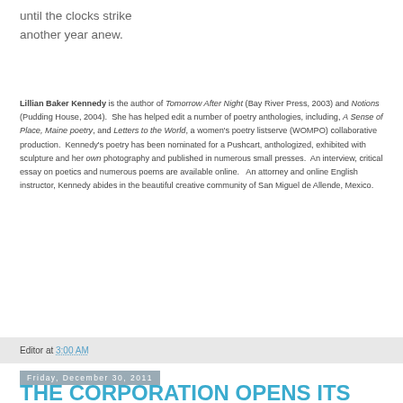until the clocks strike
another year anew.
Lillian Baker Kennedy is the author of Tomorrow After Night (Bay River Press, 2003) and Notions (Pudding House, 2004).  She has helped edit a number of poetry anthologies, including, A Sense of Place, Maine poetry, and Letters to the World, a women's poetry listserve (WOMPO) collaborative production.  Kennedy's poetry has been nominated for a Pushcart, anthologized, exhibited with sculpture and her own photography and published in numerous small presses.  An interview, critical essay on poetics and numerous poems are available online.   An attorney and online English instructor, Kennedy abides in the beautiful creative community of San Miguel de Allende, Mexico.
Editor at 3:00 AM
Friday, December 30, 2011
THE CORPORATION OPENS ITS MOUTH TO SCREAM
by Victor David Sandiego